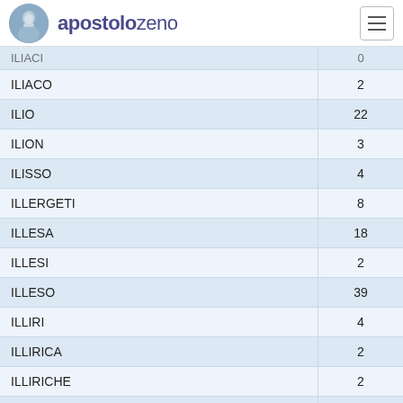apostolozeno
| Word | Count |
| --- | --- |
| ILIACO | 2 |
| ILIO | 22 |
| ILION | 3 |
| ILISSO | 4 |
| ILLERGETI | 8 |
| ILLESA | 18 |
| ILLESI | 2 |
| ILLESO | 39 |
| ILLIRI | 4 |
| ILLIRICA | 2 |
| ILLIRICHE | 2 |
| ILLIRICI | 3 |
| ILLIRIO | 16 |
| ILLUMINA | 3 |
| ILLUMINANDO | 3 |
| ILLUMINATA | 8 |